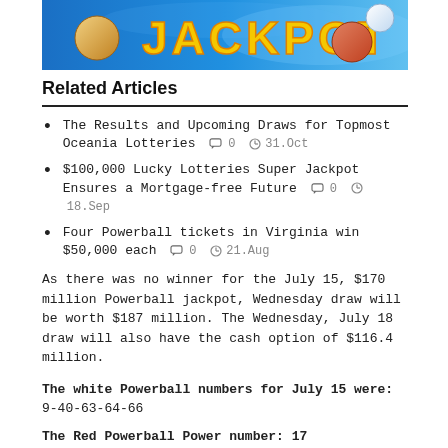[Figure (photo): Partial banner image showing lottery 'JACKPOT' text in yellow/orange letters on blue background with lottery balls]
Related Articles
The Results and Upcoming Draws for Topmost Oceania Lotteries  0  31.Oct
$100,000 Lucky Lotteries Super Jackpot Ensures a Mortgage-free Future  0  18.Sep
Four Powerball tickets in Virginia win $50,000 each  0  21.Aug
As there was no winner for the July 15, $170 million Powerball jackpot, Wednesday draw will be worth $187 million. The Wednesday, July 18 draw will also have the cash option of $116.4 million.
The white Powerball numbers for July 15 were: 9-40-63-64-66
The Red Powerball Power number: 17